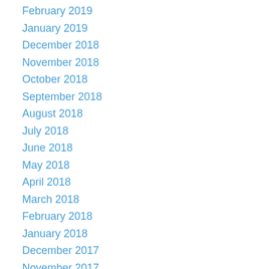February 2019
January 2019
December 2018
November 2018
October 2018
September 2018
August 2018
July 2018
June 2018
May 2018
April 2018
March 2018
February 2018
January 2018
December 2017
November 2017
September 2017
August 2017
July 2017
June 2017